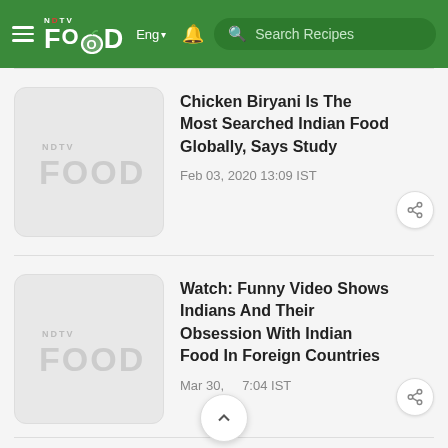NDTV FOOD – Eng – Search Recipes
[Figure (logo): NDTV Food logo placeholder thumbnail]
Chicken Biryani Is The Most Searched Indian Food Globally, Says Study
Feb 03, 2020 13:09 IST
[Figure (logo): NDTV Food logo placeholder thumbnail]
Watch: Funny Video Shows Indians And Their Obsession With Indian Food In Foreign Countries
Mar 30, ... 7:04 IST